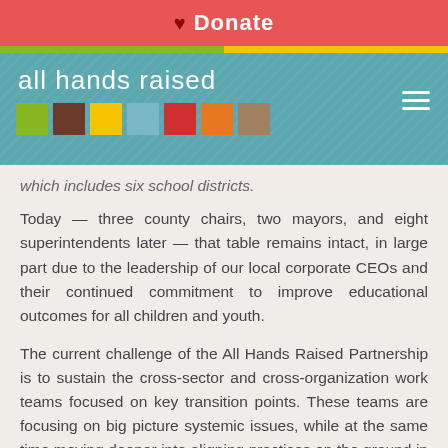♥ Donate
[Figure (logo): All Hands Raised logo with colored squares on teal background]
which includes six school districts.
Today — three county chairs, two mayors, and eight superintendents later — that table remains intact, in large part due to the leadership of our local corporate CEOs and their continued commitment to improve educational outcomes for all children and youth.
The current challenge of the All Hands Raised Partnership is to sustain the cross-sector and cross-organization work teams focused on key transition points. These teams are focusing on big picture systemic issues, while at the same time moving deeper into aligning practices on the ground in specific schools and neighborhoods using measurable results as the guide.